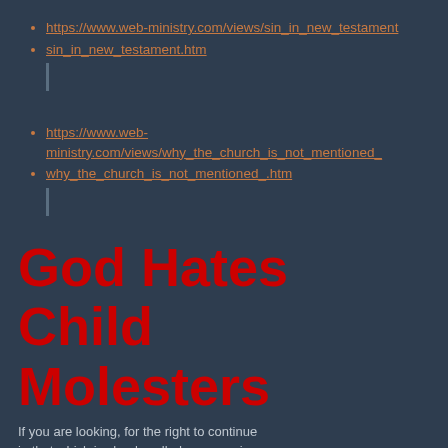https://www.web-ministry.com/views/sin_in_new_testament
sin_in_new_testament.htm
https://www.web-ministry.com/views/why_the_church_is_not_mentioned_
why_the_church_is_not_mentioned_.htm
God Hates Child Molesters
If you are looking, for the right to continue in that which is clearly called a perversion, then you have found the wrong site! Child Molesting is a SIN period! Not only that but it is unnatural! The same as sex with an animal is unnatural!